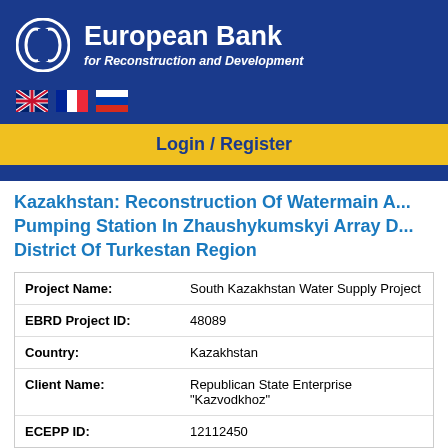[Figure (logo): European Bank for Reconstruction and Development logo with circular EBRD emblem on blue background]
[Figure (infographic): Three flag icons: UK flag, French flag, Russian flag for language selection]
Login / Register
Kazakhstan: Reconstruction Of Watermain And Pumping Station In Zhaushykumskyi Array District Of Turkestan Region
| Field | Value |
| --- | --- |
| Project Name: | South Kazakhstan Water Supply Project |
| EBRD Project ID: | 48089 |
| Country: | Kazakhstan |
| Client Name: | Republican State Enterprise "Kazvodkhoz" |
| ECEPP ID: | 12112450 |